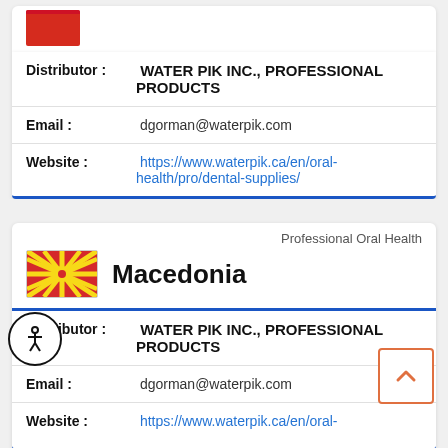Distributor: WATER PIK INC., PROFESSIONAL PRODUCTS
Email: dgorman@waterpik.com
Website: https://www.waterpik.ca/en/oral-health/pro/dental-supplies/
Professional Oral Health
Macedonia
Distributor: WATER PIK INC., PROFESSIONAL PRODUCTS
Email: dgorman@waterpik.com
Website: https://www.waterpik.ca/en/oral-